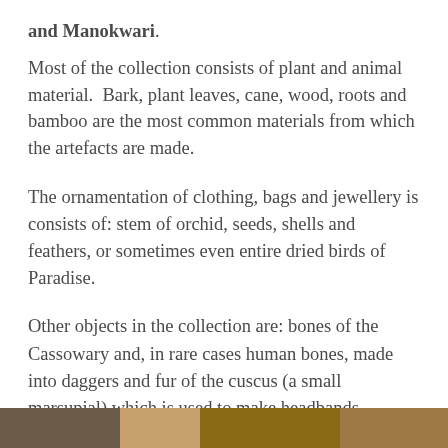and Manokwari.
Most of the collection consists of plant and animal material. Bark, plant leaves, cane, wood, roots and bamboo are the most common materials from which the artefacts are made.
The ornamentation of clothing, bags and jewellery is consists of: stem of orchid, seeds, shells and feathers, or sometimes even entire dried birds of Paradise.
Other objects in the collection are: bones of the Cassowary and, in rare cases human bones, made into daggers and fur of the cuscus (a small marsupial) which is used to make headbands.
[Figure (photo): Bottom strip showing partial view of ethnographic objects or artefacts, brownish tones]